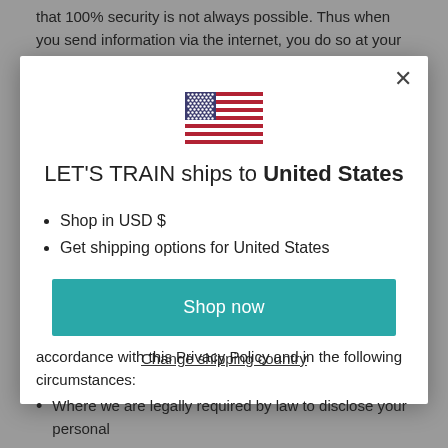that 100% security is not always possible. Thus when you send information via the internet, you do so at your own risk. You can help protect your privacy by keeping your password safe.
[Figure (screenshot): Modal dialog popup showing LET'S TRAIN ships to United States with US flag icon, bullet list with Shop in USD $ and Get shipping options for United States, a teal Shop now button, and a Change shipping country link. Has an X close button in the top right.]
accordance with this Privacy Policy and in the following circumstances:
Where we are legally required by law to disclose your personal